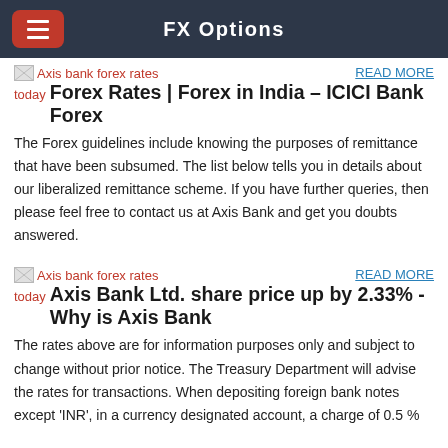FX Options
[Figure (screenshot): Broken image placeholder labeled 'Axis bank forex rates today']
READ MORE
today
Forex Rates | Forex in India – ICICI Bank Forex
The Forex guidelines include knowing the purposes of remittance that have been subsumed. The list below tells you in details about our liberalized remittance scheme. If you have further queries, then please feel free to contact us at Axis Bank and get you doubts answered.
[Figure (screenshot): Broken image placeholder labeled 'Axis bank forex rates today']
READ MORE
today
Axis Bank Ltd. share price up by 2.33% - Why is Axis Bank
The rates above are for information purposes only and subject to change without prior notice. The Treasury Department will advise the rates for transactions. When depositing foreign bank notes except 'INR', in a currency designated account, a charge of 0.5 %